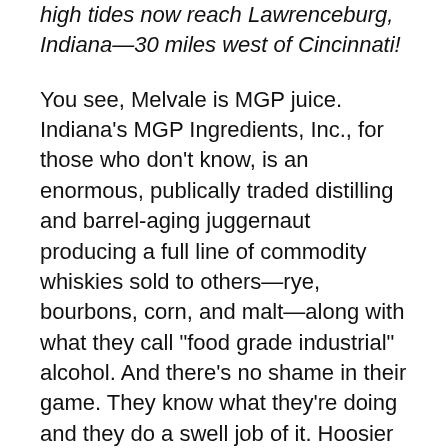high tides now reach Lawrenceburg, Indiana—30 miles west of Cincinnati!
You see, Melvale is MGP juice. Indiana's MGP Ingredients, Inc., for those who don't know, is an enormous, publically traded distilling and barrel-aging juggernaut producing a full line of commodity whiskies sold to others—rye, bourbons, corn, and malt—along with what they call “food grade industrial” alcohol. And there's no shame in their game. They know what they're doing and they do a swell job of it. Hoosier hooch ends up in dozens and dozens of other people's bottles, including both Bulleit rye and Dickel rye. Baltimore's Sagamore Spirit is bottling MGP rye while waiting for its downtown distillery to be completed and the homegrown whiskey to start aging out.
I'm not revisiting the dust-up of a few years back